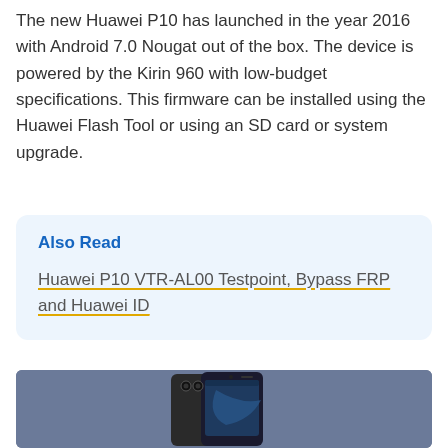The new Huawei P10 has launched in the year 2016 with Android 7.0 Nougat out of the box. The device is powered by the Kirin 960 with low-budget specifications. This firmware can be installed using the Huawei Flash Tool or using an SD card or system upgrade.
Also Read
Huawei P10 VTR-AL00 Testpoint, Bypass FRP and Huawei ID
[Figure (photo): Huawei P10 smartphone shown from the front and back on a blue-grey background]